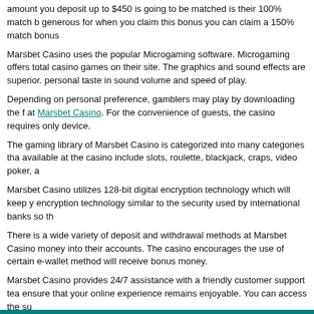amount you deposit up to $450 is going to be matched is their 100% match b generous for when you claim this bonus you can claim a 150% match bonus
Marsbet Casino uses the popular Microgaming software. Microgaming offers total casino games on their site. The graphics and sound effects are superior. personal taste in sound volume and speed of play.
Depending on personal preference, gamblers may play by downloading the f at Marsbet Casino. For the convenience of guests, the casino requires only device.
The gaming library of Marsbet Casino is categorized into many categories tha available at the casino include slots, roulette, blackjack, craps, video poker, a
Marsbet Casino utilizes 128-bit digital encryption technology which will keep y encryption technology similar to the security used by international banks so th
There is a wide variety of deposit and withdrawal methods at Marsbet Casino money into their accounts. The casino encourages the use of certain e-wallet method will receive bonus money.
Marsbet Casino provides 24/7 assistance with a friendly customer support tea ensure that your online experience remains enjoyable. You can access the su
Claim Bonus and Play a
7 Sultans Casino   Euro Palace Casino   Platinum Play Casino   Red Flush Ca
Copyright 2013 - 2022